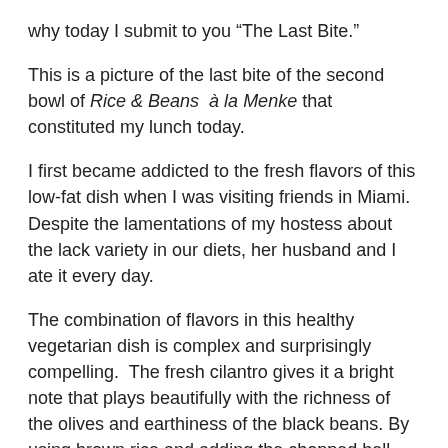why today I submit to you “The Last Bite.”
This is a picture of the last bite of the second bowl of Rice & Beans à la Menke that constituted my lunch today.
I first became addicted to the fresh flavors of this low-fat dish when I was visiting friends in Miami.  Despite the lamentations of my hostess about the lack variety in our diets, her husband and I ate it every day.
The combination of flavors in this healthy vegetarian dish is complex and surprisingly compelling.  The fresh cilantro gives it a bright note that plays beautifully with the richness of the olives and earthiness of the black beans. By using brown rice and adding the chopped bell pepper close to the